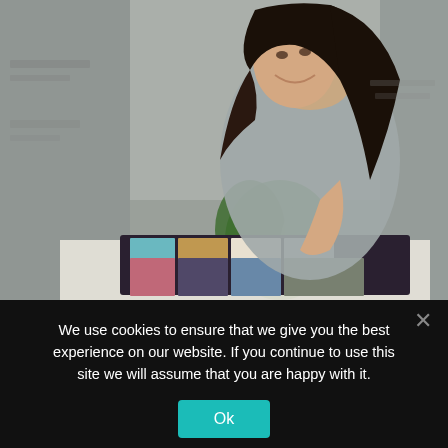[Figure (photo): A woman with long dark hair leaning over a table looking at fabric color swatches in a catalogue/book. She is smiling, wearing a grey sleeveless top. There is a green plant in the background and a grey wall.]
We use cookies to ensure that we give you the best experience on our website. If you continue to use this site we will assume that you are happy with it.